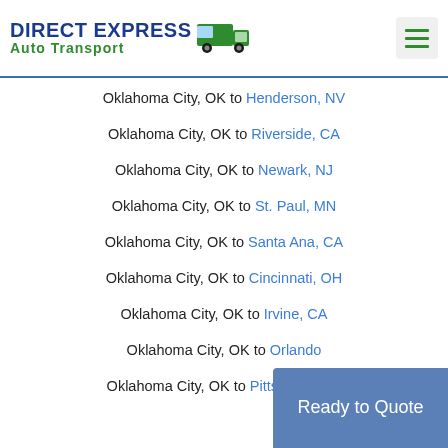DIRECT EXPRESS Auto Transport
Oklahoma City, OK to Henderson, NV
Oklahoma City, OK to Riverside, CA
Oklahoma City, OK to Newark, NJ
Oklahoma City, OK to St. Paul, MN
Oklahoma City, OK to Santa Ana, CA
Oklahoma City, OK to Cincinnati, OH
Oklahoma City, OK to Irvine, CA
Oklahoma City, OK to Orlando
Oklahoma City, OK to Pittsburgh, PA